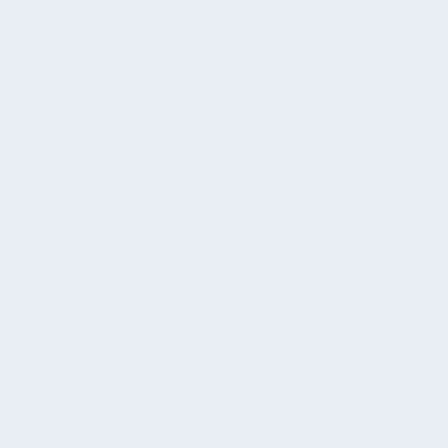* [[Flask (Ammonia)|Flask (Ammonia)]]
* [[Potash Ore|Potash Ore]]
| {{Inventory|{{Inventory/Slot|index=1|title=Flask (Ammonia)|image=Vessel_flask.png|link=Flask